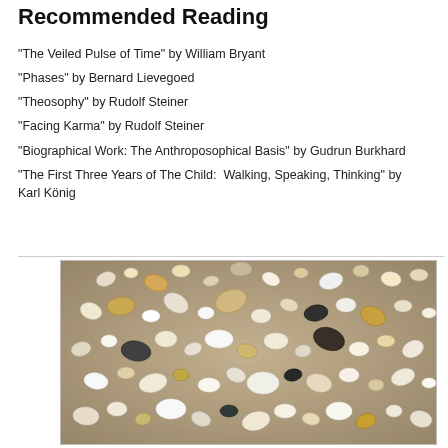Recommended Reading
"The Veiled Pulse of Time" by William Bryant
"Phases" by Bernard Lievegoed
"Theosophy" by Rudolf Steiner
"Facing Karma" by Rudolf Steiner
"Biographical Work: The Anthroposophical Basis" by Gudrun Burkhard
"The First Three Years of The Child:  Walking, Speaking, Thinking" by Karl König
[Figure (photo): A photograph of many seashells of various sizes and colors scattered on sandy beach ground.]